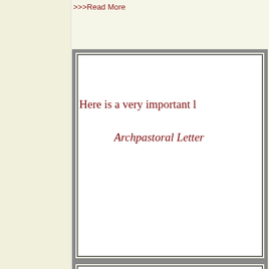>>>Read More
Here is a very important l
Archpastoral Letter